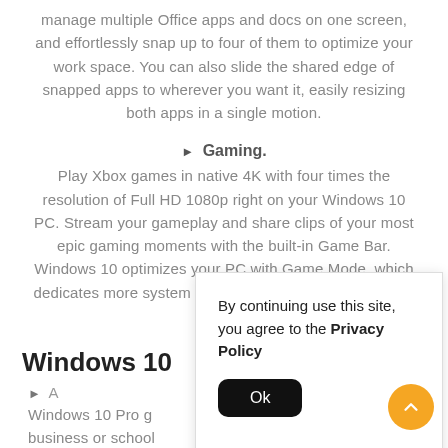manage multiple Office apps and docs on one screen, and effortlessly snap up to four of them to optimize your work space. You can also slide the shared edge of snapped apps to wherever you want it, easily resizing both apps in a single motion.
▶ Gaming. Play Xbox games in native 4K with four times the resolution of Full HD 1080p right on your Windows 10 PC. Stream your gameplay and share clips of your most epic gaming moments with the built-in Game Bar. Windows 10 optimizes your PC with Game Mode, which dedicates more system resources to games while you're playing.
Windows 10
▶ A...
Windows 10 Pro gives your business or school
servers, printers and more through Azure Active Directory
By continuing use this site, you agree to the Privacy Policy
Ok